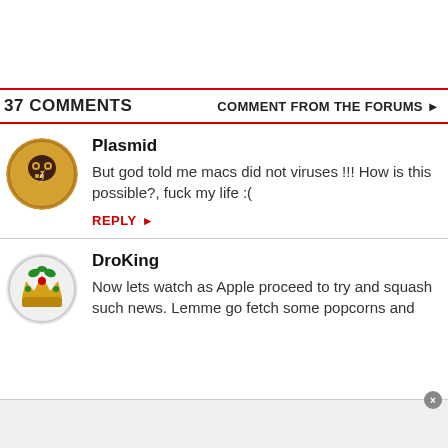37 COMMENTS
COMMENT FROM THE FORUMS ▶
Plasmid
But god told me macs did not viruses !!! How is this possible?, fuck my life :(
REPLY ▶
DroKing
Now lets watch as Apple proceed to try and squash such news. Lemme go fetch some popcorns and